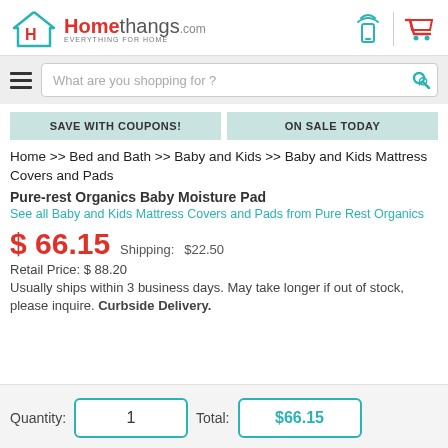[Figure (logo): Homethangs.com logo with house icon and tagline EVERYTHING FOR HOME]
What are you shopping for ?
SAVE WITH COUPONS! | ON SALE TODAY
Home >> Bed and Bath >> Baby and Kids >> Baby and Kids Mattress Covers and Pads
Pure-rest Organics Baby Moisture Pad
See all Baby and Kids Mattress Covers and Pads from Pure Rest Organics
$ 66.15  Shipping:   $22.50
Retail Price: $ 88.20
Usually ships within 3 business days. May take longer if out of stock, please inquire. Curbside Delivery.
Quantity: 1   Total: $66.15